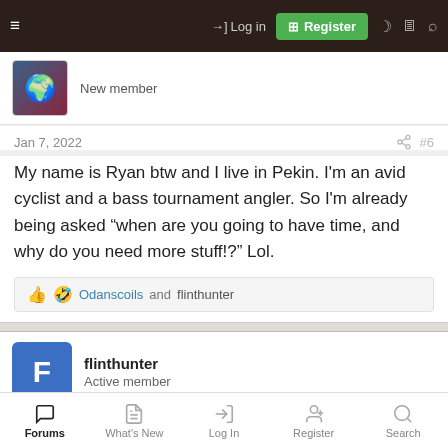Navigation bar with Log in, Register, and icon buttons
New member
Jan 7, 2022  #6
My name is Ryan btw and I live in Pekin. I'm an avid cyclist and a bass tournament angler. So I'm already being asked “when are you going to have time, and why do you need more stuff!?” Lol.
Odanscoils and flinthunter
flinthunter
Active member
Jan 7, 2022  #7
Forums  What's New  Log In  Register  Search